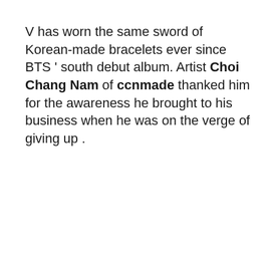V has worn the same sword of Korean-made bracelets ever since BTS ' south debut album. Artist Choi Chang Nam of ccnmade thanked him for the awareness he brought to his business when he was on the verge of giving up .